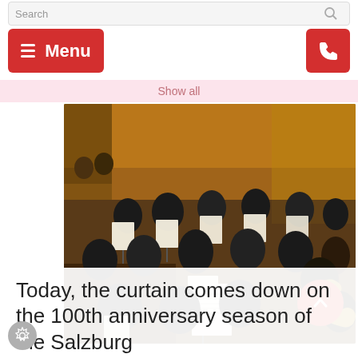Search | Menu | Show all
[Figure (photo): Orchestra musicians performing in a concert hall, viewed from above, with music stands lit under warm ambient lighting. Musicians in formal black attire playing various instruments including brass and woodwinds.]
Today, the curtain comes down on the 100th anniversary season of the Salzburg